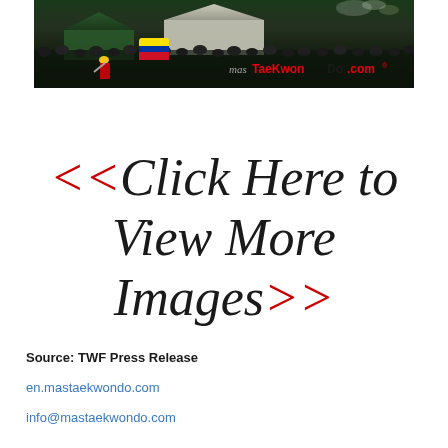[Figure (photo): Taekwondo event crowd scene at night with tent/canopy visible and masTaeKwonDo.com logo overlay]
<<Click Here to View More Images>>
Source: TWF Press Release
en.mastaekwondo.com
info@mastaekwondo.com